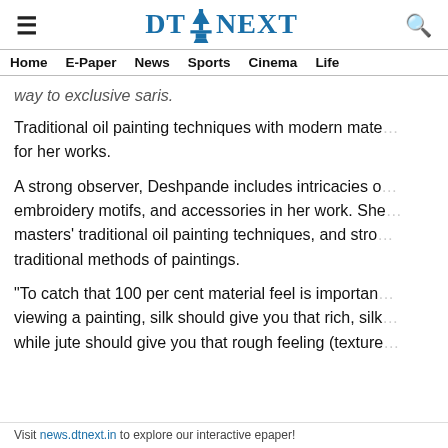DT NEXT (with lighthouse icon)
Home   E-Paper   News   Sports   Cinema   Life
way to exclusive saris.
Traditional oil painting techniques with modern materials for her works.
A strong observer, Deshpande includes intricacies of embroidery motifs, and accessories in her work. She masters' traditional oil painting techniques, and strong traditional methods of paintings.
"To catch that 100 per cent material feel is important viewing a painting, silk should give you that rich, silk while jute should give you that rough feeling (texture
Visit news.dtnext.in to explore our interactive epaper!